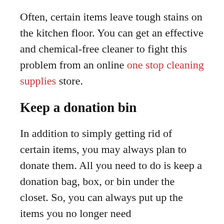Often, certain items leave tough stains on the kitchen floor. You can get an effective and chemical-free cleaner to fight this problem from an online one stop cleaning supplies store.
Keep a donation bin
In addition to simply getting rid of certain items, you may always plan to donate them. All you need to do is keep a donation bag, box, or bin under the closet. So, you can always put up the items you no longer need